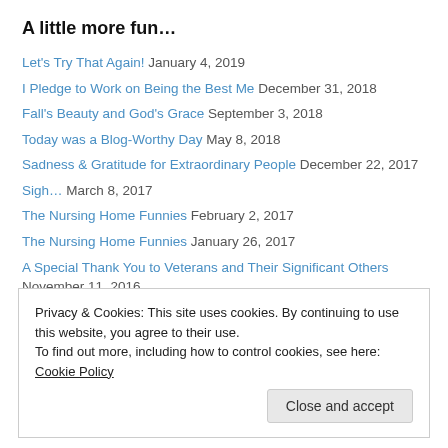A little more fun…
Let's Try That Again! January 4, 2019
I Pledge to Work on Being the Best Me December 31, 2018
Fall's Beauty and God's Grace September 3, 2018
Today was a Blog-Worthy Day May 8, 2018
Sadness & Gratitude for Extraordinary People December 22, 2017
Sigh… March 8, 2017
The Nursing Home Funnies February 2, 2017
The Nursing Home Funnies January 26, 2017
A Special Thank You to Veterans and Their Significant Others November 11, 2016
A Pileated Woodpecker Came a Knockin! October 1, 2016
Privacy & Cookies: This site uses cookies. By continuing to use this website, you agree to their use. To find out more, including how to control cookies, see here: Cookie Policy